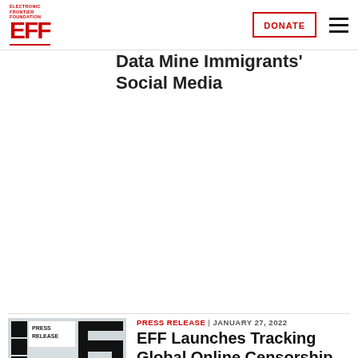EFF - Electronic Frontier Foundation | DONATE
Against DHS to End a Light Collecting Program to Collect and Data Mine Immigrants' Social Media
PRESS RELEASE | JANUARY 27, 2022
[Figure (logo): EFF Press Release logo - Electronic Frontier Foundation press release image with gray and black blocks]
EFF Launches Tracking Global Online Censorship Project to Shine Light on How Content Moderation Affects Freedom of Expression Around the World